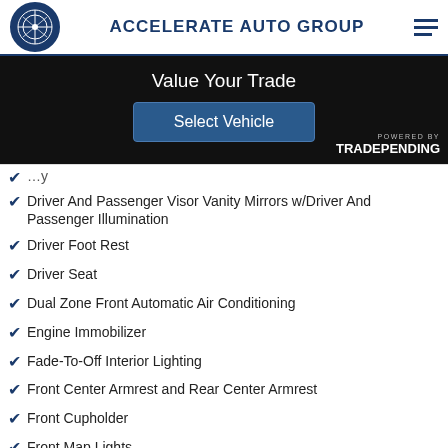ACCELERATE AUTO GROUP
[Figure (screenshot): Value Your Trade widget with 'Select Vehicle' button, powered by TradePending]
Driver And Passenger Visor Vanity Mirrors w/Driver And Passenger Illumination
Driver Foot Rest
Driver Seat
Dual Zone Front Automatic Air Conditioning
Engine Immobilizer
Fade-To-Off Interior Lighting
Front Center Armrest and Rear Center Armrest
Front Cupholder
Front Map Lights
Full Carpet Floor Covering -inc: Carpet Front And Rear Floor Mats
Full Cloth Headliner
Full Floor Console w/Covered Storage, Mini Overhead